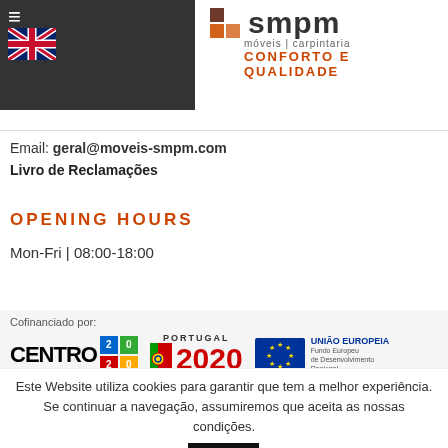[Figure (logo): SMPM móveis | carpintaria logo with brown/orange squares and tagline CONFORTO E QUALIDADE]
Telefone: 232 301 900 | 232 ... 0
Fax: 232 301 239
Email: geral@moveis-smpm.com
Livro de Reclamações
OPENING HOURS
Mon-Fri | 08:00-18:00
Cofinanciado por:
[Figure (logo): Centro 2020, Portugal 2020, and EU FEDER logos]
Este Website utiliza cookies para garantir que tem a melhor experiência. Se continuar a navegação, assumiremos que aceita as nossas condições.
Opções   Aceito   Ler Mais